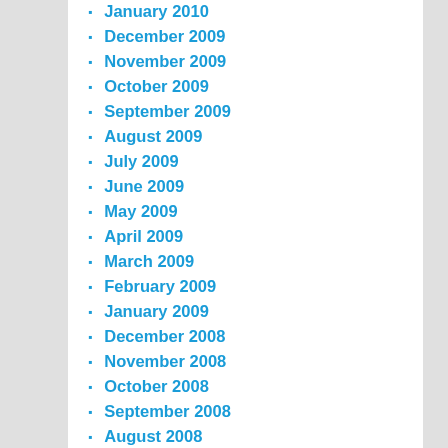January 2010
December 2009
November 2009
October 2009
September 2009
August 2009
July 2009
June 2009
May 2009
April 2009
March 2009
February 2009
January 2009
December 2008
November 2008
October 2008
September 2008
August 2008
July 2008
June 2008
May 2008
April 2008